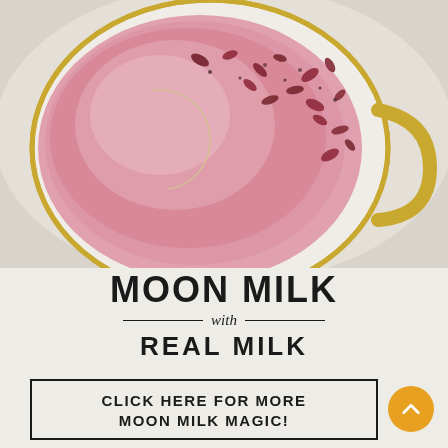[Figure (photo): Top-down view of a white and gold cup filled with pink moon milk (rose-colored beverage), topped with dried rose petals and a white crescent moon charm. The cup has a gold rim and handle.]
MOON MILK
with
REAL MILK
CLICK HERE FOR MORE MOON MILK MAGIC!